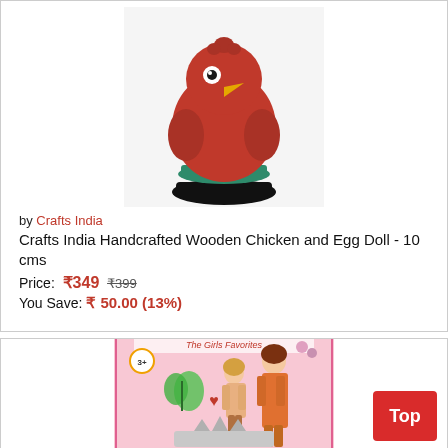[Figure (photo): Red wooden chicken toy with egg on a black base with teal ring]
by Crafts India
Crafts India Handcrafted Wooden Chicken and Egg Doll - 10 cms
Price: ₹349  ₹399
You Save: ₹ 50.00 (13%)
[Figure (photo): Fashion doll set (The Girls Favorites) in pink box with two dolls and accessories]